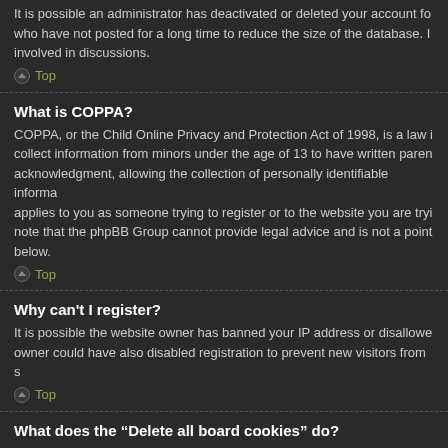It is possible an administrator has deactivated or deleted your account for some reason. Also, many boards periodically remove users who have not posted for a long time to reduce the size of the database. If this has happened, try registering again and being more involved in discussions.
Top
What is COPPA?
COPPA, or the Child Online Privacy and Protection Act of 1998, is a law in the United States requiring websites which can potentially collect information from minors under the age of 13 to have written parental consent or some other method of legal guardian acknowledgment, allowing the collection of personally identifiable information from a minor under the age of 13. If you are unsure if this applies to you as someone trying to register or to the website you are trying to register on, contact legal counsel for assistance. Please note that the phpBB Group cannot provide legal advice and is not a point of contact for legal concerns of any kind, except as outlined below.
Top
Why can't I register?
It is possible the website owner has banned your IP address or disallowed the username you are attempting to register. The board owner could have also disabled registration to prevent new visitors from signing up.
Top
What does the “Delete all board cookies” do?
“Delete all board cookies” deletes the cookies created by phpBB which keep you authenticated and logged into the board. It also provides functions such as read tracking if they have been enabled by the board owner. If you are having login or logout problems, deleting board cookies may help.
Top